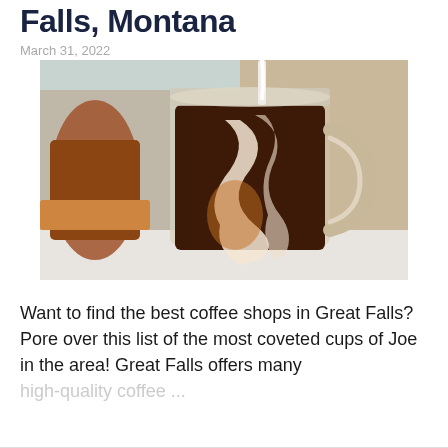Falls, Montana
March 31, 2022
[Figure (photo): A glass mason jar mug filled with iced coffee with cream swirling through it, placed on a light surface with a blurred background.]
Want to find the best coffee shops in Great Falls? Pore over this list of the most coveted cups of Joe in the area! Great Falls offers many
high-quality coffee ...